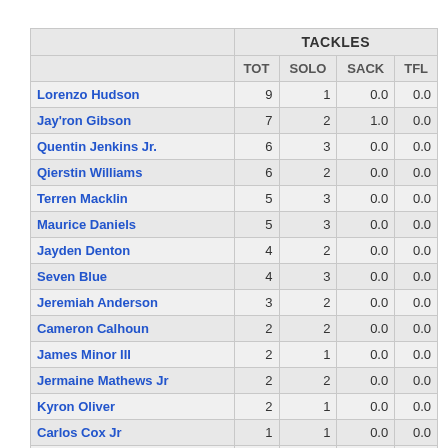|  | TOT | SOLO | SACK | TFL |
| --- | --- | --- | --- | --- |
| Lorenzo Hudson | 9 | 1 | 0.0 | 0.0 |
| Jay'ron Gibson | 7 | 2 | 1.0 | 0.0 |
| Quentin Jenkins Jr. | 6 | 3 | 0.0 | 0.0 |
| Qierstin Williams | 6 | 2 | 0.0 | 0.0 |
| Terren Macklin | 5 | 3 | 0.0 | 0.0 |
| Maurice Daniels | 5 | 3 | 0.0 | 0.0 |
| Jayden Denton | 4 | 2 | 0.0 | 0.0 |
| Seven Blue | 4 | 3 | 0.0 | 0.0 |
| Jeremiah Anderson | 3 | 2 | 0.0 | 0.0 |
| Cameron Calhoun | 2 | 2 | 0.0 | 0.0 |
| James Minor III | 2 | 1 | 0.0 | 0.0 |
| Jermaine Mathews Jr | 2 | 2 | 0.0 | 0.0 |
| Kyron Oliver | 2 | 1 | 0.0 | 0.0 |
| Carlos Cox Jr | 1 | 1 | 0.0 | 0.0 |
| Josh Thompson | 1 | 0 | 0.0 | 0.0 |